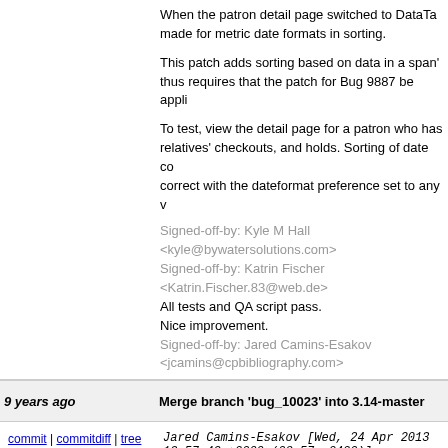When the patron detail page switched to DataTables, no accommodation was made for metric date formats in sorting.
This patch adds sorting based on data in a span's data-sort attribute, and thus requires that the patch for Bug 9887 be applied first.
To test, view the detail page for a patron who has checkouts, account, relatives' checkouts, and holds. Sorting of date columns should now be correct with the dateformat preference set to any value.
Signed-off-by: Kyle M Hall <kyle@bywatersolutions.com>
Signed-off-by: Katrin Fischer <Katrin.Fischer.83@web.de>
All tests and QA script pass.
Nice improvement.
Signed-off-by: Jared Camins-Esakov <jcamins@cpbibliography.com>
9 years ago  Merge branch 'bug_10023' into 3.14-master
commit | commitdiff | tree  Jared Camins-Esakov [Wed, 24 Apr 2013 12:57:42 +0000 (08:57 -0400)]
Merge branch 'bug_10023' into 3.14-master
9 years ago  Bug 10023 follow-up: Remove the last occurrences of N[degree sign]